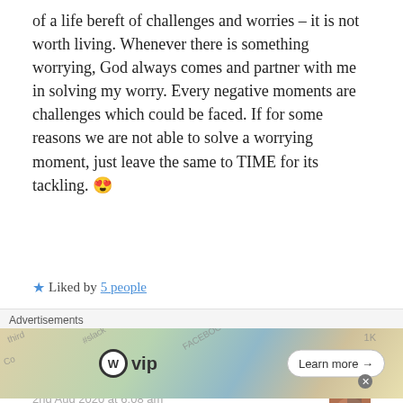of a life bereft of challenges and worries – it is not worth living. Whenever there is something worrying, God always comes and partner with me in solving my worry. Every negative moments are challenges which could be faced. If for some reasons we are not able to solve a worrying moment, just leave the same to TIME for its tackling. 😍
★ Liked by 5 people
Reply
Ava Tripathy
2nd Aug 2020 at 6:08 am
[Figure (screenshot): Advertisement banner with WordPress VIP logo and Learn more button, overlaid on colorful background with social media logos]